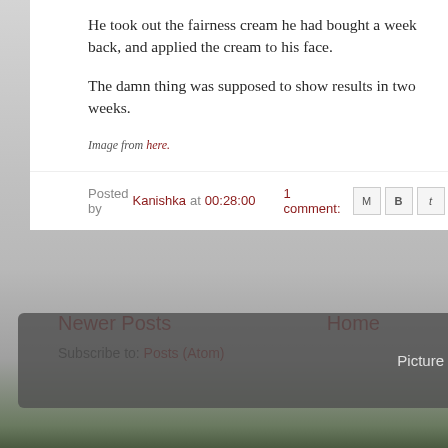He took out the fairness cream he had bought a week back, and applied the cream to his face.
The damn thing was supposed to show results in two weeks.
Image from here.
Posted by Kanishka at 00:28:00   1 comment:
Newer Posts
Home
Subscribe to: Posts (Atom)
Picture